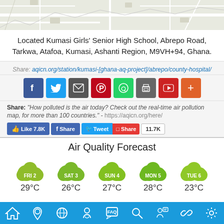[Figure (map): Partial map background showing Kumasi area street map]
Located Kumasi Girls' Senior High School, Abrepo Road, Tarkwa, Atafoa, Kumasi, Ashanti Region, M9VH+94, Ghana.
Share: aqicn.org/station/kumasi-[ghana-aq-project]/abrepo/county-hospital/
[Figure (infographic): Social media sharing buttons: Facebook, Twitter, Email, Pinterest, WhatsApp, Print, YouTube, More]
Share: "How polluted is the air today? Check out the real-time air pollution map, for more than 100 countries." - https://aqicn.org/here/
[Figure (infographic): Social engagement buttons: Like 7.8K, Share, Tweet, Share, 11.7K count]
Air Quality Forecast
[Figure (infographic): Air quality forecast cloud icons for FRI 2, SAT 3, SUN 4, MON 5, TUE 6 with temperatures 29°C, 26°C, 27°C, 28°C, 23°C]
[Figure (infographic): Bottom navigation bar with icons for home, location, globe, mask, FAQ, search, person, link, settings]